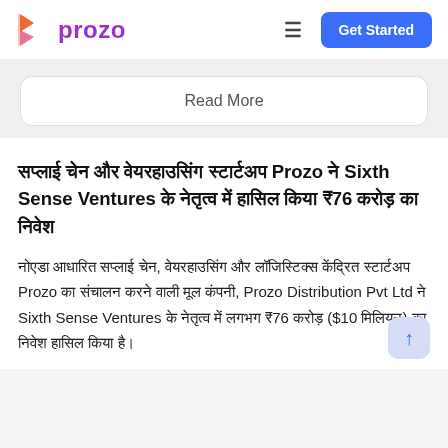[Figure (logo): Prozo logo with orange/red arrow icon and purple text 'prozo']
Get Started
Read More
सप्लाई चेन और वेयरहाउसिंग स्टार्टअप Prozo ने Sixth Sense Ventures के नेतृत्व में हासिल किया ₹76 करोड़ का निवेश
नोएडा आधारित सप्लाई चेन, वेयरहाउसिंग और लॉजिस्टिक्स केंद्रित स्टार्टअप Prozo का संचालन करने वाली मूल कंपनी, Prozo Distribution Pvt Ltd ने Sixth Sense Ventures के नेतृत्व में लगभग ₹76 करोड़ ($10 मिलियन) का निवेश हासिल किया है।